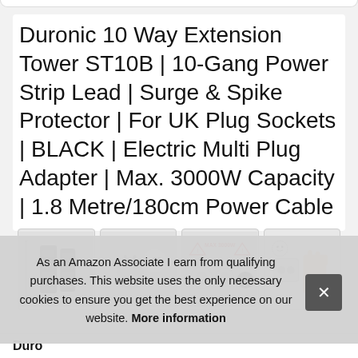Duronic 10 Way Extension Tower ST10B | 10-Gang Power Strip Lead | Surge & Spike Protector | For UK Plug Sockets | BLACK | Electric Multi Plug Adapter | Max. 3000W Capacity | 1.8 Metre/180cm Power Cable
[Figure (photo): Four product thumbnail images in a row showing the Duronic ST10B extension tower from different angles and feature callouts]
Duro
As an Amazon Associate I earn from qualifying purchases. This website uses the only necessary cookies to ensure you get the best experience on our website. More information